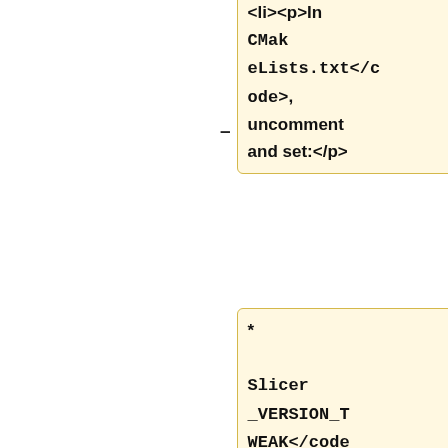<li><p>In <code>CMakeLists.txt</code>, uncomment and set:</p>
* <code>Slicer_VERSION_TWEAK</code> to <code>0</code>
* <code>Slicer_VERSION_RC</code> to <code><RC></code>